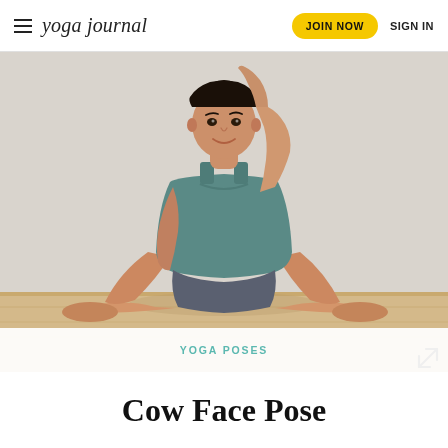yoga journal | JOIN NOW | SIGN IN
[Figure (photo): Man in teal tank top and gray shorts performing Cow Face Pose (Gomukhasana) on a wooden floor against a white wall, with one arm raised behind his head and legs crossed.]
YOGA POSES
Cow Face Pose